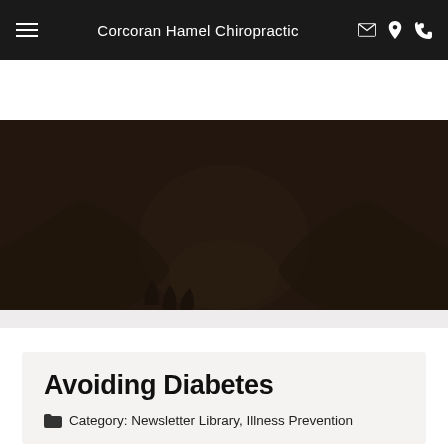Corcoran Hamel Chiropractic
[Figure (photo): Dark-toned hero image showing hands on a person's lower back, representing chiropractic or back pain treatment, with dark overlay]
Home / Illness Prevention
Avoiding Diabetes
Category: Newsletter Library, Illness Prevention